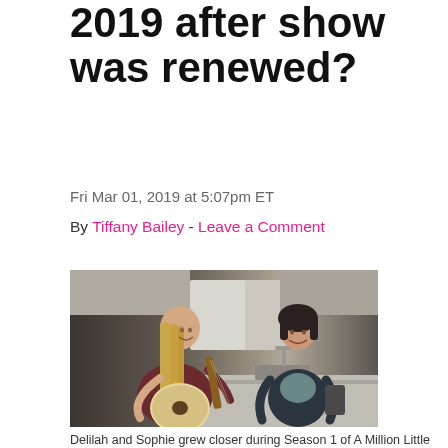2019 after show was renewed?
Fri Mar 01, 2019 at 5:07pm ET
By Tiffany Bailey - Leave a Comment
[Figure (photo): Two women in a kitchen scene; one playing acoustic guitar with long blonde hair, the other with short dark hair smiling, standing near a kitchen counter.]
Delilah and Sophie grew closer during Season 1 of A Million Little Things. Pic credit: ABC